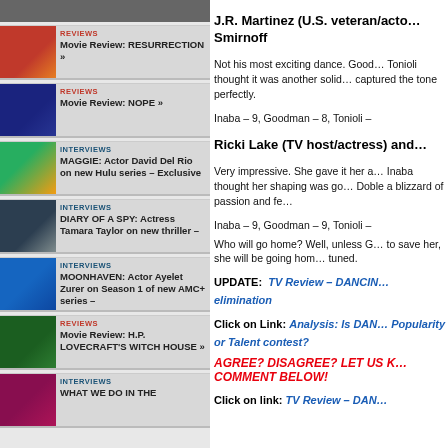[Figure (screenshot): Top banner image strip placeholder]
REVIEWS - Movie Review: RESURRECTION »
REVIEWS - Movie Review: NOPE »
INTERVIEWS - MAGGIE: Actor David Del Rio on new Hulu series – Exclusive
INTERVIEWS - DIARY OF A SPY: Actress Tamara Taylor on new thriller –
INTERVIEWS - MOONHAVEN: Actor Ayelet Zurer on Season 1 of new AMC+ series –
REVIEWS - Movie Review: H.P. LOVECRAFT'S WITCH HOUSE »
INTERVIEWS - WHAT WE DO IN THE
J.R. Martinez (U.S. veteran/acto… Smirnoff
Not his most exciting dance. Good… Tonioli thought it was another solid… captured the tone perfectly.
Inaba – 9, Goodman – 8, Tonioli –
Ricki Lake (TV host/actress) and…
Very impressive. She gave it her a… Inaba thought her shaping was go… Doble a blizzard of passion and fe… Inaba – 9, Goodman – 9, Tonioli –
Who will go home? Well, unless G… to save her, she will be going hom… tuned.
UPDATE: TV Review – DANCING… elimination
Click on Link: Analysis: Is DAN… Popularity or Talent contest?
AGREE? DISAGREE? LET US K… COMMENT BELOW!
Click on link: TV Review – DAN…